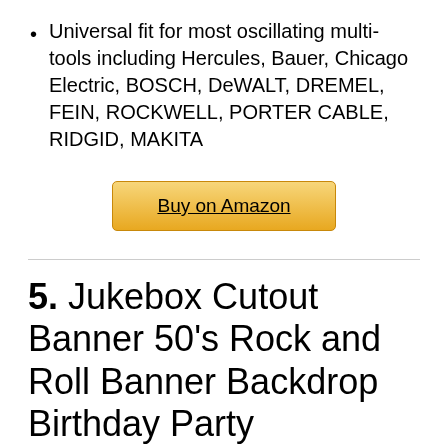Universal fit for most oscillating multi-tools including Hercules, Bauer, Chicago Electric, BOSCH, DeWALT, DREMEL, FEIN, ROCKWELL, PORTER CABLE, RIDGID, MAKITA
Buy on Amazon
5. Jukebox Cutout Banner 50's Rock and Roll Banner Backdrop Birthday Party Decoration Baby Shower Birthday Party Supplies